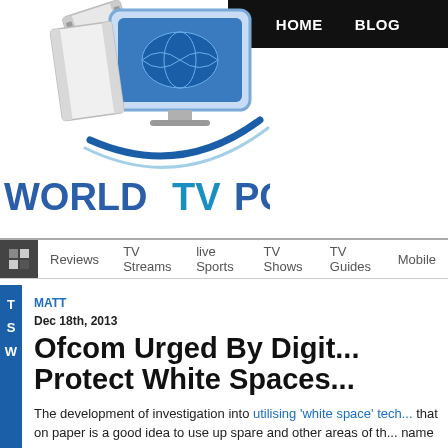[Figure (logo): World TV PC website logo with film strip and globe monitor graphic]
HOME   BLOG
Reviews   TV Streams   live Sports   TV Shows   TV Guides   Mobile
MATT
Dec 18th, 2013
Ofcom Urged By Digit... Protect White Spaces...
The development of investigation into utilising 'white space' tech... that on paper is a good idea to use up spare and other areas of th... name have offered a more conservative approach to the proposals... should not take too many risks in the area.
Digital UK, the channels and w...